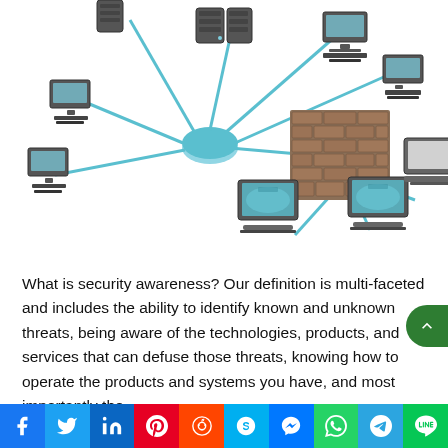[Figure (illustration): Network diagram showing desktop computers and servers connected via blue lines to a central hub, with a brick firewall wall in the center-right area, and two laptops connected on the other side of the firewall.]
What is security awareness? Our definition is multi-faceted and includes the ability to identify known and unknown threats, being aware of the technologies, products, and services that can defuse those threats, knowing how to operate the products and systems you have, and most importantly the